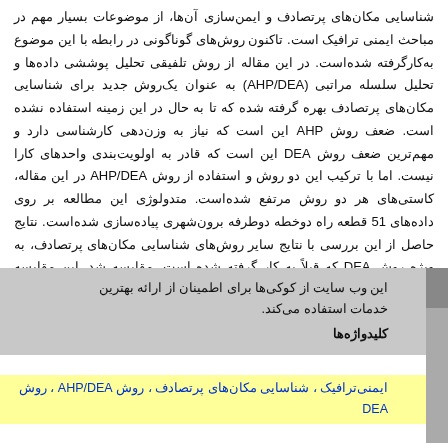شناسایی مکان‌های پرتصادف و ایمن‌سازی آن‌ها، از موضوعات بسیار مهم در مباحث ایمنی ترافیک است. تاکنون روش‌های گوناگونی در رابطه با این موضوع به کار گرفته شده است. در این مقاله از روش تلفیقی تحلیل پوششی داده‌ها و تحلیل سلسله مراتبی (AHP/DEA) به عنوان یکروش جدید برای شناسایی مکان‌های پرتصادف بهره گرفته شده که تا به حال در این زمینه استفاده نشده است. ضعف روش AHP این است که نیاز به وزن‌دهی کارشناسی دارد و مهمترین ضعف روش DEA این است که قادر به اولویت‌بندی واحدهای کارا نیست. اما با ترکیب این دو روش و استفاده از روش AHP/DEA در این مقاله، کاستی‌های هر دو روش مرتفع شده است. متدولوژی این مطالعه بر روی داده‌های 51 قطعه راه دوخطه دوطرفه برون‌شهری پیاده‌سازی شده است. نتایج حاصل از این بررسی با نتایج سایر روش‌های شناسایی مکان‌های پرتصادف، به ویژه روش DEA که قبلاً به کار گرفته شده است، مقایسه شد. این مقایسه علاوه بر تایید صحت نتایج حاصل از متدولوژی این مطالعه، قدرت روش AHP/DEA در شناسایی مکان‌های پرتصادف را نشان داد.
این وب سایت از کوکی‌ها برای اطمینان از ارائه بهترین خدمات استفاده می‌کند.
کلیدواژه‌ها
ایمنی ترافیک ، شناسایی مکان‌های پرتصادف ، روش AHP/DEA ، روش DEA